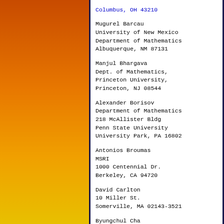Columbus, OH 43210
Mugurel Barcau
University of New Mexico
Department of Mathematics
Albuquerque, NM 87131
Manjul Bhargava
Dept. of Mathematics,
Princeton University,
Princeton, NJ 08544
Alexander Borisov
Department of Mathematics
218 McAllister Bldg
Penn State University
University Park, PA 16802
Antonios Broumas
MSRI
1000 Centennial Dr.
Berkeley, CA 94720
David Carlton
10 Miller St.
Somerville, MA 02143-3521
Byungchul Cha
3501 St Paul st, #339
Baltimore, MD 21218